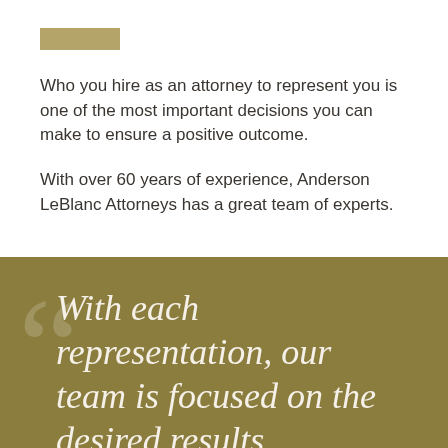[Figure (logo): Tan/gold colored logo bar placeholder]
Who you hire as an attorney to represent you is one of the most important decisions you can make to ensure a positive outcome.
With over 60 years of experience, Anderson LeBlanc Attorneys has a great team of experts.
With each representation, our team is focused on the desired results